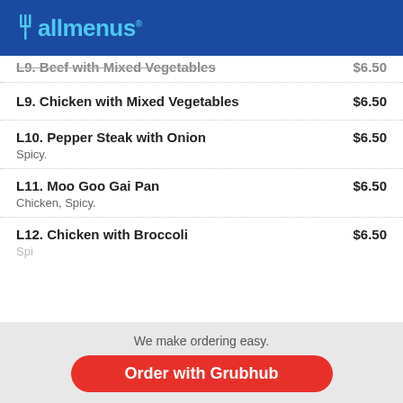allmenus
L9. Beef with Mixed Vegetables  $6.50
L9. Chicken with Mixed Vegetables  $6.50
L10. Pepper Steak with Onion  $6.50
Spicy.
L11. Moo Goo Gai Pan  $6.50
Chicken, Spicy.
L12. Chicken with Broccoli  $6.50
Spicy.
We make ordering easy.
Order with Grubhub